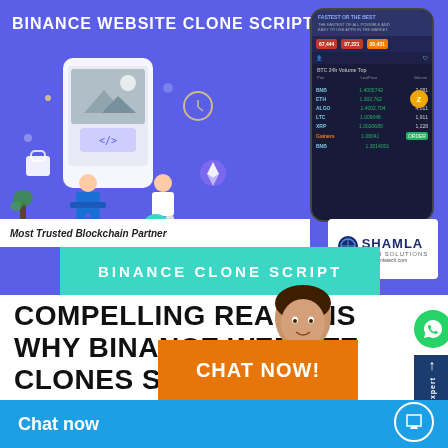[Figure (infographic): Binance Website Clone Script promotional banner with purple background, phone mockup showing cryptocurrency trading interface, developer illustrations, teal banner saying BINANCE CLONE SCRIPT, Shamla Tech Solutions logo, Most Trusted Blockchain Partner text]
COMPELLING REASONS WHY BINANCE WEBSITE CLONES STANDS AS A PREMIER CHOICE CRYPTOCURRENCY EXCHANGE